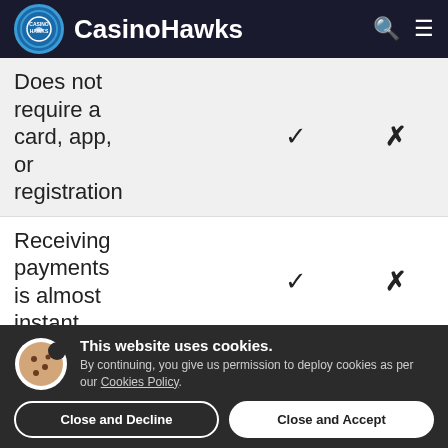CasinoHawks
| Feature | ✓ | ✗ |
| --- | --- | --- |
| Does not require a card, app, or registration | ✓ | ✗ |
| Receiving payments is almost instant | ✓ | ✗ |
This website uses cookies. By continuing, you give us permission to deploy cookies as per our Cookies Policy.